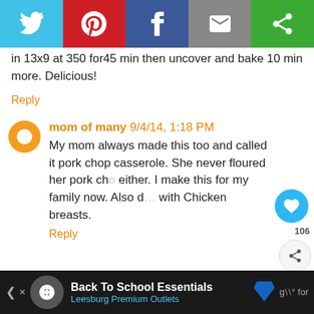[Figure (other): Social share bar with Twitter, Pinterest, Facebook, email, and other share buttons]
in 13x9 at 350 for45 min then uncover and bake 10 min more. Delicious!
Reply
mom of many 9/4/14, 1:18 PM
My mom always made this too and called it pork chop casserole. She never floured her pork ch... either. I make this for my family now. Also d... with Chicken breasts.
Reply
Anonymous 9/4/14, 1:36 PM
WHAT'S NEXT → Chicken & Rice...
Back To School Essentials Leesburg Premium Outlets